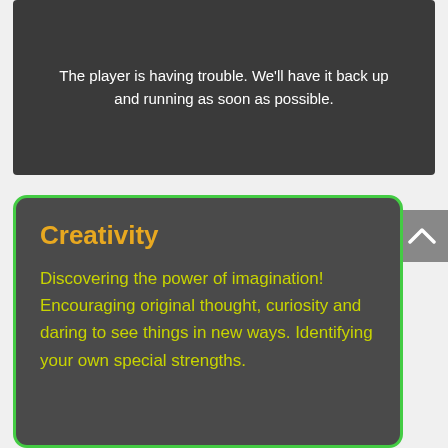[Figure (screenshot): Video player error screen with dark background showing message: The player is having trouble. We'll have it back up and running as soon as possible.]
The player is having trouble. We'll have it back up and running as soon as possible.
Creativity
Discovering the power of imagination! Encouraging original thought, curiosity and daring to see things in new ways. Identifying your own special strengths.